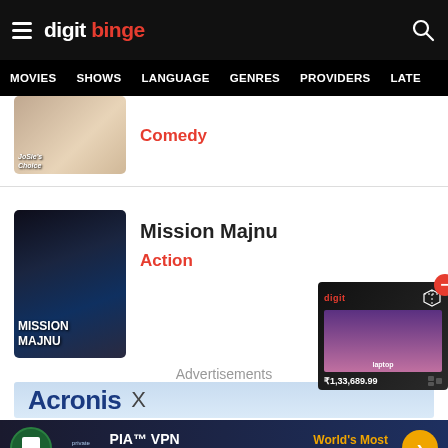digit binge — navigation header with hamburger menu and search icon
MOVIES  SHOWS  LANGUAGE  GENRES  PROVIDERS  LATE
[Figure (screenshot): Partially visible movie poster — Comedy genre]
Comedy
[Figure (photo): Mission Majnu movie poster — dark atmospheric night scene with man and title text MISSION MAJNU]
Mission Majnu
Action
Advertisements
[Figure (screenshot): Acronis X advertisement banner]
[Figure (screenshot): PIA VPN Official Site — World's Most Trusted VPN advertisement banner]
[Figure (screenshot): Product widget showing a laptop product box priced at ₹1,33,689.99 with a red minus close button]